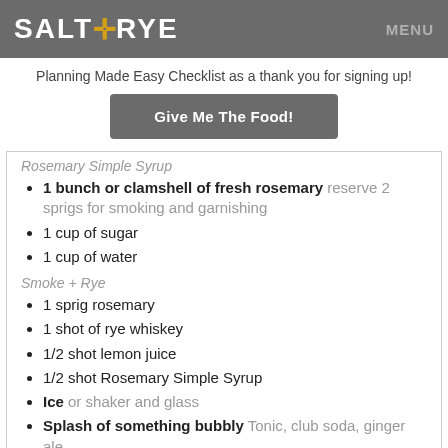SALT+RYE   MENU
Planning Made Easy Checklist as a thank you for signing up!
Give Me The Food!
Rosemary Simple Syrup
1 bunch or clamshell of fresh rosemary reserve 2 sprigs for smoking and garnishing
1 cup of sugar
1 cup of water
Smoke + Rye
1 sprig rosemary
1 shot of rye whiskey
1/2 shot lemon juice
1/2 shot Rosemary Simple Syrup
Ice or shaker and glass
Splash of something bubbly Tonic, club soda, ginger ale